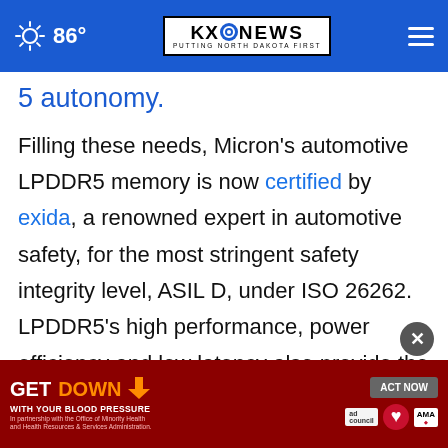86° | KXONEWS – PUTTING NORTH DAKOTA FIRST
5 autonomy.
Filling these needs, Micron's automotive LPDDR5 memory is now certified by exida, a renowned expert in automotive safety, for the most stringent safety integrity level, ASIL D, under ISO 26262. LPDDR5's high performance, power efficiency and low latency also provide the headroom to keep pace with rising bandwidth requirements of next-generation autonomous driving. Micron's LPDDR5 in 48- and 96-gigabit densities, Micron's LPDDR5
[Figure (screenshot): Advertisement banner: GET DOWN WITH YOUR BLOOD PRESSURE – ACT NOW, with logos from ad council, American Heart Association, and AMA]